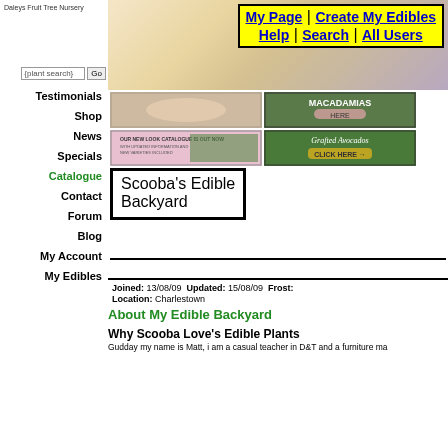Daleys Fruit Tree Nursery
[Figure (screenshot): Navigation box with yellow background showing: My Page | Create My Edibles / Help | Search | All Users]
[Figure (photo): Header banner with soft warm tones]
[Figure (photo): Four promotional banner images: plant hands photo, Macadamias promo, Our New Look catalogue banner, Grafted Avocados click here banner]
Scooba's Edible Backyard
Joined: 13/08/09 Updated: 15/08/09 Frost: Location: Charlestown
About My Edible Backyard
Why Scooba Love's Edible Plants
Gudday my name is Matt, i am a casual teacher in D&T and a furniture ma